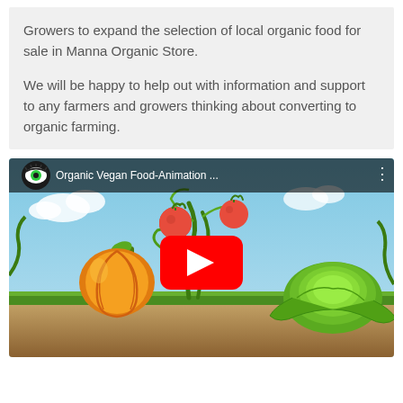Growers to expand the selection of local organic food for sale in Manna Organic Store.

We will be happy to help out with information and support to any farmers and growers thinking about converting to organic farming.
[Figure (screenshot): YouTube video thumbnail showing animated organic vegetables (pumpkin, tomatoes on vine, cabbage) with a red play button in the center. The video title shown in the top bar is 'Organic Vegan Food-Animation ...' with a YouTube eye logo and a three-dot menu icon.]